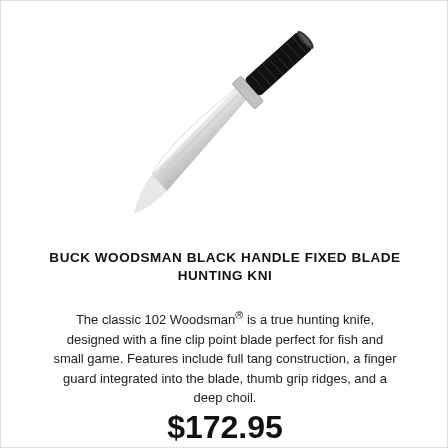[Figure (photo): A Buck Woodsman hunting knife with a black handle and silver fixed blade, displayed diagonally on a white background.]
BUCK WOODSMAN BLACK HANDLE FIXED BLADE HUNTING KNI
The classic 102 Woodsman® is a true hunting knife, designed with a fine clip point blade perfect for fish and small game. Features include full tang construction, a finger guard integrated into the blade, thumb grip ridges, and a deep choil.
$172.95